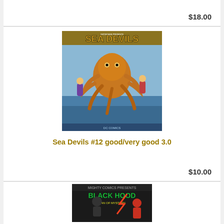$18.00
[Figure (photo): Comic book cover: Sea Devils #12 showing an underwater villain with octopus-like features attacking sea divers, colorful action scene]
Sea Devils #12 good/very good 3.0
$10.00
[Figure (photo): Comic book cover: Mighty Comics presents Black Hood Man of Mystery, showing a costumed superhero in action]